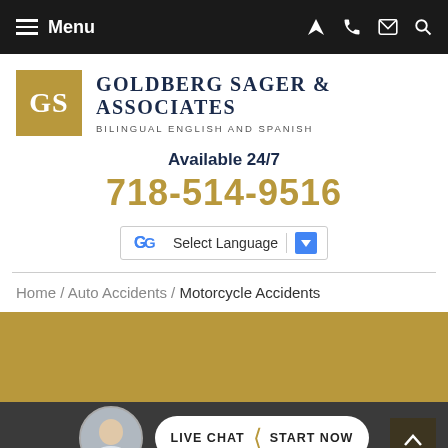Menu
[Figure (logo): GS gold square logo with 'GOLDBERG SAGER & ASSOCIATES' firm name and 'BILINGUAL ENGLISH AND SPANISH' tagline]
Available 24/7
718-514-9516
[Figure (screenshot): Google Translate Select Language widget]
Home / Auto Accidents / Motorcycle Accidents
[Figure (photo): Gold banner background area]
LIVE CHAT | START NOW